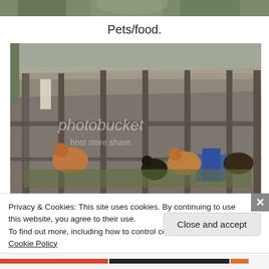[Figure (photo): Partial view of a person at the top of the page, cropped to just show top of head/shoulders area]
Pets/food.
[Figure (photo): A wooden chicken coop/pen with wire mesh fencing containing several chickens including brown and dark-colored ones. Blue container visible inside. Photobucket watermark overlay reading 'host store share'.]
Privacy & Cookies: This site uses cookies. By continuing to use this website, you agree to their use.
To find out more, including how to control cookies, see here: Cookie Policy
Close and accept